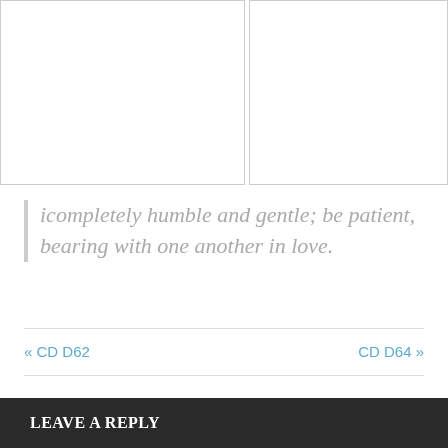[Figure (photo): Two image placeholders side by side at the top of the page, both with light gray borders on white backgrounds.]
icompletely humble and gentle; be patient, bearing with one another in love.
« CD D62   CD D64 »
LEAVE A REPLY